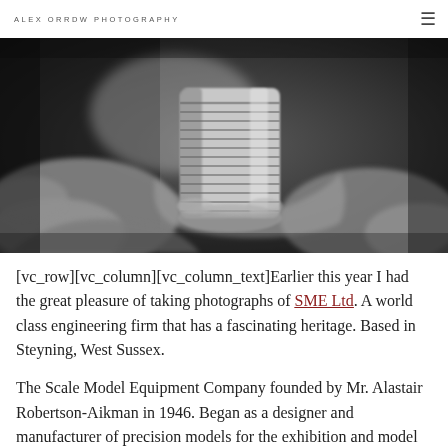ALEX ORRDW PHOTOGRAPHY
[Figure (photo): Black and white close-up photograph of hands holding a threaded cylindrical metal object (bolt or screw fitting), with blurred background]
[vc_row][vc_column][vc_column_text]Earlier this year I had the great pleasure of taking photographs of SME Ltd. A world class engineering firm that has a fascinating heritage. Based in Steyning, West Sussex.
The Scale Model Equipment Company founded by Mr. Alastair Robertson-Aikman in 1946. Began as a designer and manufacturer of precision models for the exhibition and model engineering trade. The company expanded and diversified into